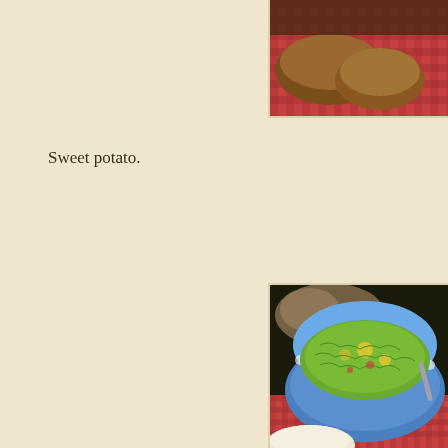[Figure (photo): Top portion of a food/cooking scene showing bread loaves and a red plaid tablecloth, cropped at the top of the page]
Sweet potato.
[Figure (photo): A blue and white ceramic bowl filled with a green vegetable dish (appears to be cooked Brussels sprouts or cabbage with corn and tomatoes), placed on a red plaid tablecloth with dried flowers/plants in the background]